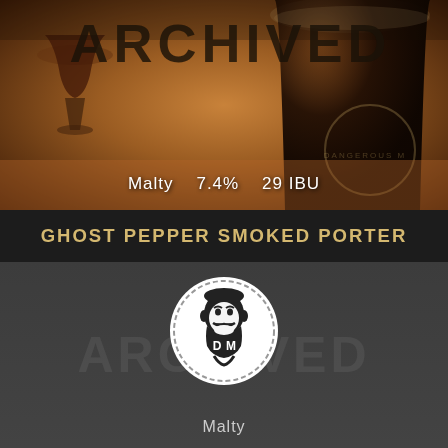[Figure (photo): Top half: photo of dark beer in a pint glass and a wine/snifter glass on a wooden surface with warm amber tones. Large 'ARCHIVED' text overlay in dark bold letters. Beer stats shown: Malty, 7.4%, 29 IBU.]
Malty   7.4%   29 IBU
GHOST PEPPER SMOKED PORTER
[Figure (logo): Bottom section with dark gray background, circular brewery logo (white circle with dashed border) featuring a bearded man face illustration with 'DM' letters, and 'ARCHIVED' watermark text. 'Malty' text at bottom.]
Malty